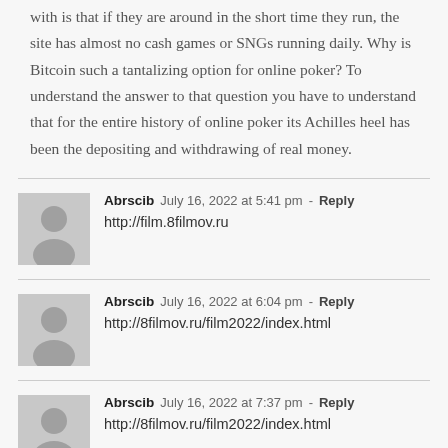with is that if they are around in the short time they run, the site has almost no cash games or SNGs running daily. Why is Bitcoin such a tantalizing option for online poker? To understand the answer to that question you have to understand that for the entire history of online poker its Achilles heel has been the depositing and withdrawing of real money.
Abrscib   July 16, 2022 at 5:41 pm - Reply
http://film.8filmov.ru
Abrscib   July 16, 2022 at 6:04 pm - Reply
http://8filmov.ru/film2022/index.html
Abrscib   July 16, 2022 at 7:37 pm - Reply
http://8filmov.ru/film2022/index.html